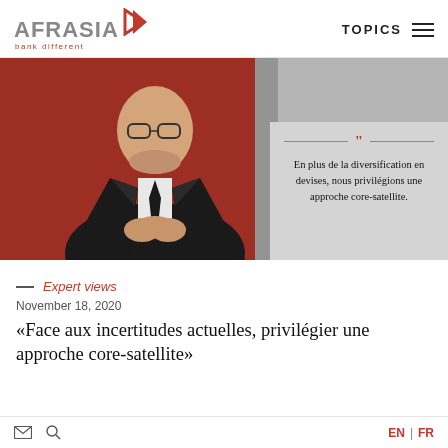AFRASIA bank different | TOPICS
[Figure (photo): A bald man wearing glasses and a dark suit with a black tie, sitting in front of a red quilted background. To the right is a grey panel with a pull quote overlay reading: En plus de la diversification en devises, nous privilégions une approche core-satellite.]
— Expert views
November 18, 2020
«Face aux incertitudes actuelles, privilégier une approche core-satellite»
EN | FR